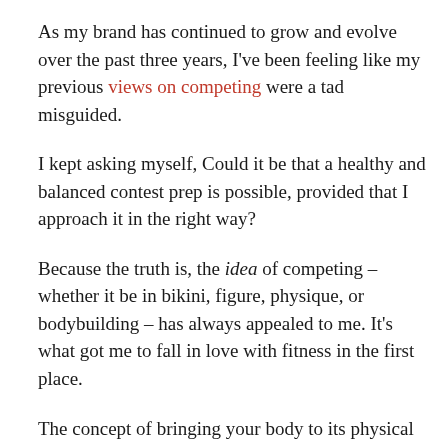As my brand has continued to grow and evolve over the past three years, I've been feeling like my previous views on competing were a tad misguided.
I kept asking myself, Could it be that a healthy and balanced contest prep is possible, provided that I approach it in the right way?
Because the truth is, the idea of competing – whether it be in bikini, figure, physique, or bodybuilding – has always appealed to me. It's what got me to fall in love with fitness in the first place.
The concept of bringing your body to its physical peak through months and weeks of dedicated work has always seemed natural to me. As a (recovering) perfectionist, I'm always looking to bring my best to